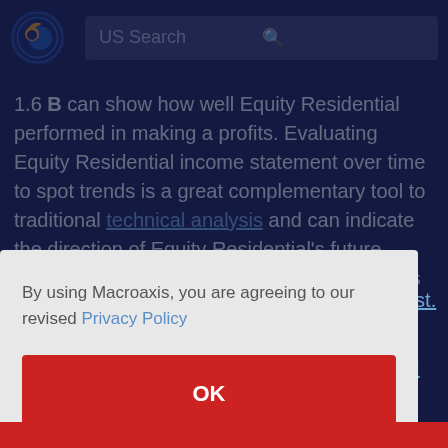US Search
1.6 B can show how well Equity Residential performed in making a profits. Evaluating Equity Residential income statement over time to spot trends is a great complementary tool to traditional technical analysis and can indicate the direction of Equity Residential's future profits or losses. Financial Statement Analysis is much
By using Macroaxis, you are agreeing to our revised Privacy Policy
OK